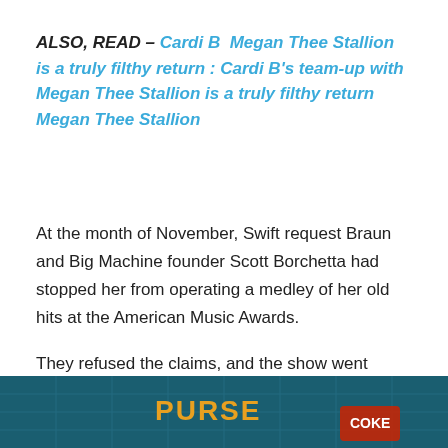ALSO, READ – Cardi B  Megan Thee Stallion is a truly filthy return : Cardi B's team-up with Megan Thee Stallion is a truly filthy return  Megan Thee Stallion
At the month of November, Swift request Braun and Big Machine founder Scott Borchetta had stopped her from operating a medley of her old hits at the American Music Awards.
They refused the claims, and the show went ahead as originally planned.
[Figure (photo): Bottom strip showing a colorful image with teal/dark background and partial text visible]